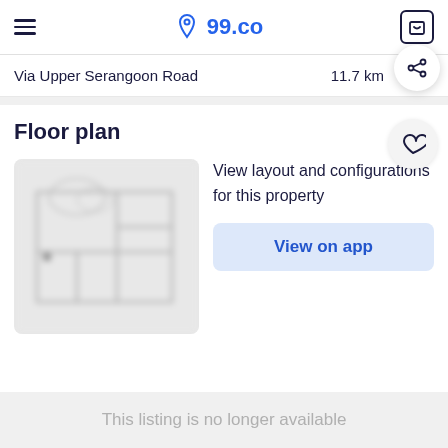99.co
Via Upper Serangoon Road — 11.7 km
Floor plan
[Figure (other): Blurred floor plan thumbnail image showing room layout]
View layout and configurations for this property
View on app
This listing is no longer available